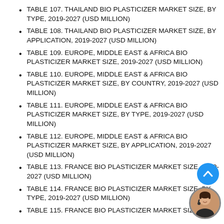TABLE 107. THAILAND BIO PLASTICIZER MARKET SIZE, BY TYPE, 2019-2027 (USD MILLION)
TABLE 108. THAILAND BIO PLASTICIZER MARKET SIZE, BY APPLICATION, 2019-2027 (USD MILLION)
TABLE 109. EUROPE, MIDDLE EAST & AFRICA BIO PLASTICIZER MARKET SIZE, 2019-2027 (USD MILLION)
TABLE 110. EUROPE, MIDDLE EAST & AFRICA BIO PLASTICIZER MARKET SIZE, BY COUNTRY, 2019-2027 (USD MILLION)
TABLE 111. EUROPE, MIDDLE EAST & AFRICA BIO PLASTICIZER MARKET SIZE, BY TYPE, 2019-2027 (USD MILLION)
TABLE 112. EUROPE, MIDDLE EAST & AFRICA BIO PLASTICIZER MARKET SIZE, BY APPLICATION, 2019-2027 (USD MILLION)
TABLE 113. FRANCE BIO PLASTICIZER MARKET SIZE, 2019-2027 (USD MILLION)
TABLE 114. FRANCE BIO PLASTICIZER MARKET SIZE, BY TYPE, 2019-2027 (USD MILLION)
TABLE 115. FRANCE BIO PLASTICIZER MARKET SIZE, BY...